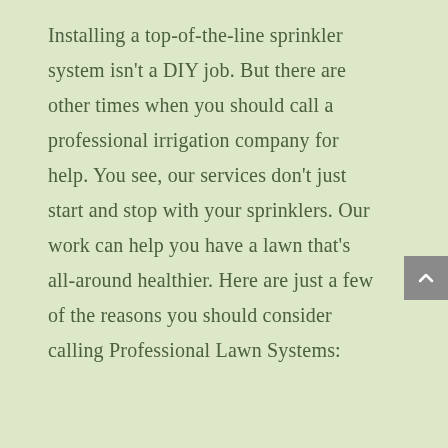Installing a top-of-the-line sprinkler system isn't a DIY job. But there are other times when you should call a professional irrigation company for help. You see, our services don't just start and stop with your sprinklers. Our work can help you have a lawn that's all-around healthier. Here are just a few of the reasons you should consider calling Professional Lawn Systems: